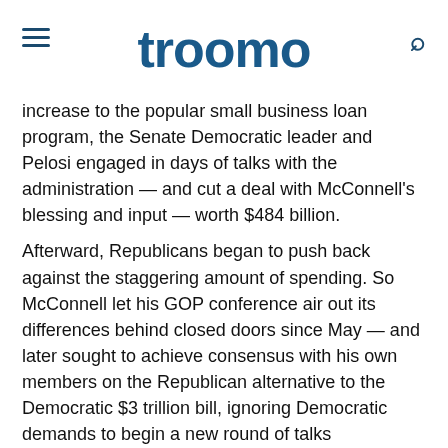troomo
increase to the popular small business loan program, the Senate Democratic leader and Pelosi engaged in days of talks with the administration — and cut a deal with McConnell's blessing and input — worth $484 billion.
Afterward, Republicans began to push back against the staggering amount of spending. So McConnell let his GOP conference air out its differences behind closed doors since May — and later sought to achieve consensus with his own members on the Republican alternative to the Democratic $3 trillion bill, ignoring Democratic demands to begin a new round of talks immediately.
After multiple weeks of talks with Meadows and Mnuchin, McConnell rolled out a $1 trillion plan meant to serve as an opening Republican offer, though a number of his GOP colleagues criticized the proposal and Trump wouldn't say if he endorsed it.